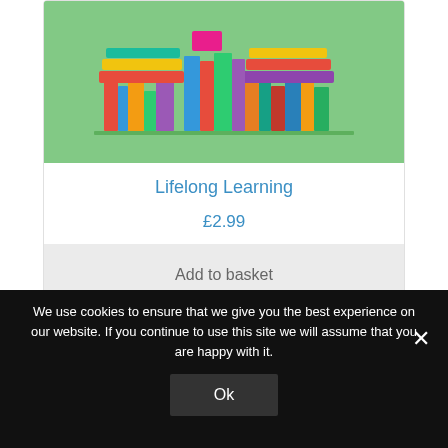[Figure (illustration): Book cover illustration showing a stack of colorful books on a green background with author name 'Liggy Webb' in dark bold text]
Lifelong Learning
£2.99
Add to basket
We use cookies to ensure that we give you the best experience on our website. If you continue to use this site we will assume that you are happy with it.
Ok